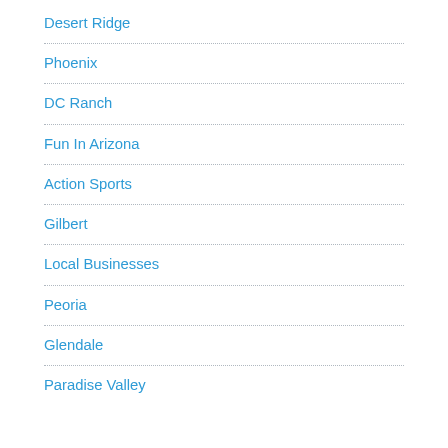Desert Ridge
Phoenix
DC Ranch
Fun In Arizona
Action Sports
Gilbert
Local Businesses
Peoria
Glendale
Paradise Valley